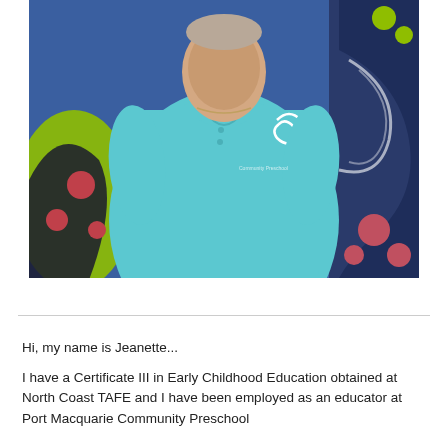[Figure (photo): A woman wearing a light blue polo shirt with a white spiral logo, standing in front of a colorful mural with blue, green, and black abstract shapes and red/pink dots.]
Hi, my name is Jeanette...
I have a Certificate III in Early Childhood Education obtained at North Coast TAFE and I have been employed as an educator at Port Macquarie Community Preschool